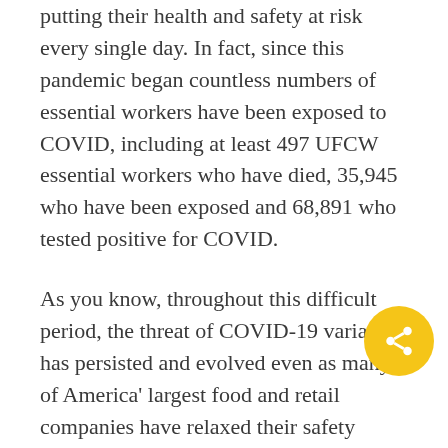putting their health and safety at risk every single day. In fact, since this pandemic began countless numbers of essential workers have been exposed to COVID, including at least 497 UFCW essential workers who have died, 35,945 who have been exposed and 68,891 who tested positive for COVID.
As you know, throughout this difficult period, the threat of COVID-19 variants has persisted and evolved even as many of America' largest food and retail companies have relaxed their safety measures.  Now, with the Delta variant driving a dangerous winter surge of COVID-19 cases in 39 states and new variants like Omicron further raising fears about public safety, we believe it is critical for our nation's